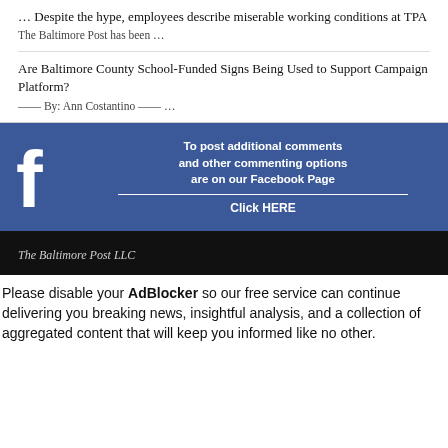Despite the hype, employees describe miserable working conditions at TPA
The Baltimore Post has been …
Are Baltimore County School-Funded Signs Being Used to Support Campaign Platform?
—— By: Ann Costantino —— …
[Figure (infographic): Facebook banner with Facebook 'f' logo on the left and text: 'To post additional comments and other commenting options are on our Facebook Page' with 'Click HERE' below a horizontal divider line. Blue background.]
The Baltimore Post LLC
Please disable your AdBlocker so our free service can continue delivering you breaking news, insightful analysis, and a collection of aggregated content that will keep you informed like no other.